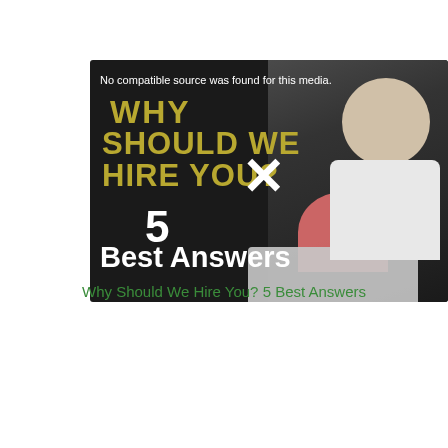[Figure (screenshot): Video thumbnail/player showing 'Why Should We Hire You? 5 Best Answers' with dark background, gold bold text on left and a photo of a man in a white shirt on the right. Overlay text reads 'No compatible source was found for this media.']
Why Should We Hire You? 5 Best Answers